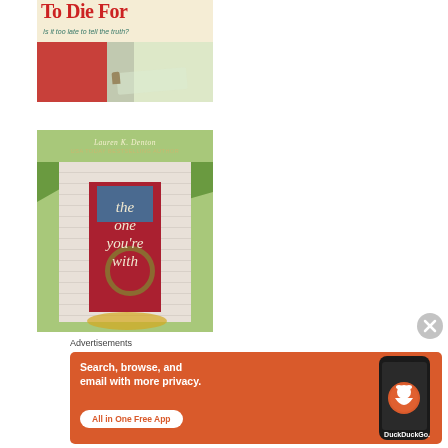[Figure (illustration): Book cover for 'To Die For' with subtitle 'Is it too late to tell the truth?' showing a message in a bottle on a red and neutral background]
[Figure (illustration): Book cover for 'The One You're With' by Lauren K. Denton (USA Today Bestselling Author), showing a red door on a white clapboard house covered in green vines]
Advertisements
[Figure (other): DuckDuckGo advertisement banner: 'Search, browse, and email with more privacy. All in One Free App' with DuckDuckGo logo and smartphone image on orange background]